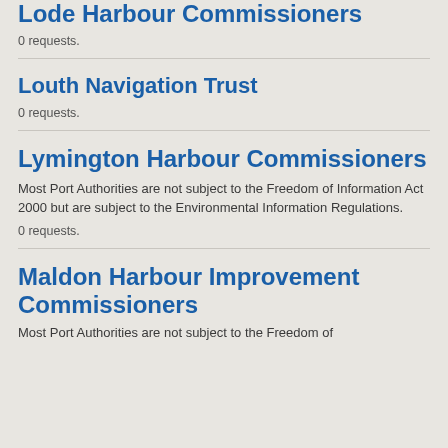Lode Harbour Commissioners
0 requests.
Louth Navigation Trust
0 requests.
Lymington Harbour Commissioners
Most Port Authorities are not subject to the Freedom of Information Act 2000 but are subject to the Environmental Information Regulations.
0 requests.
Maldon Harbour Improvement Commissioners
Most Port Authorities are not subject to the Freedom of